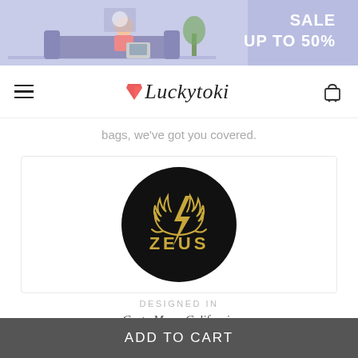[Figure (illustration): E-commerce website banner with illustrated person on couch with laptop, purple/lavender background, and SALE UP TO 50% text on right]
Luckytoki — hamburger menu and cart icon navigation bar
bags, we've got you covered.
[Figure (logo): Zeus brand logo: black circle with gold laurel wreath, lightning bolt, and ZEUS text]
DESIGNED IN
Costa Mesa, California
ADD TO CART